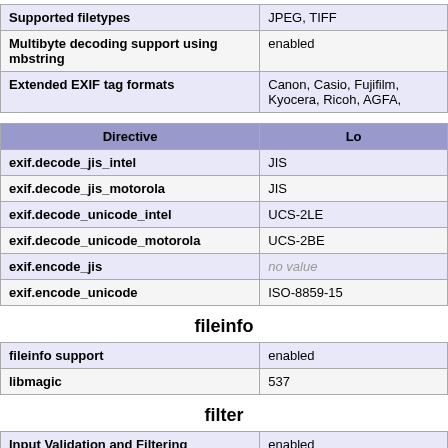|  |  |
| --- | --- |
| Supported filetypes | JPEG, TIFF |
| Multibyte decoding support using mbstring | enabled |
| Extended EXIF tag formats | Canon, Casio, Fujifilm, Kyocera, Ricoh, AGFA, |
| Directive | Lo |
| --- | --- |
| exif.decode_jis_intel | JIS |
| exif.decode_jis_motorola | JIS |
| exif.decode_unicode_intel | UCS-2LE |
| exif.decode_unicode_motorola | UCS-2BE |
| exif.encode_jis | no value |
| exif.encode_unicode | ISO-8859-15 |
fileinfo
| fileinfo support | enabled |
| libmagic | 537 |
filter
| Input Validation and Filtering | enabled |